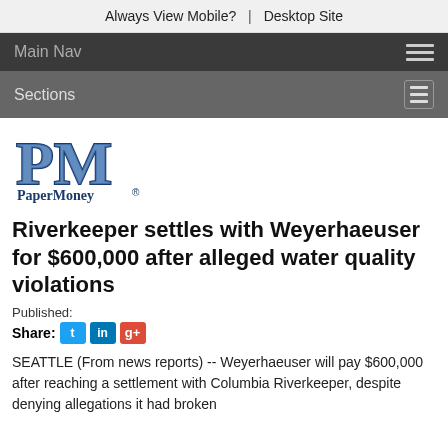Always View Mobile?  |  Desktop Site
Main Nav
Sections
[Figure (logo): PaperMoney PM logo with blue and white lettering]
Riverkeeper settles with Weyerhaeuser for $600,000 after alleged water quality violations
Published:
Share:
SEATTLE (From news reports) -- Weyerhaeuser will pay $600,000 after reaching a settlement with Columbia Riverkeeper, despite denying allegations it had broken